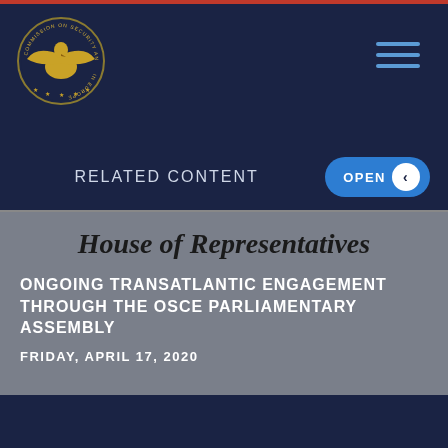[Figure (logo): Commission on Security and Cooperation in Europe seal/logo — gold eagle emblem on dark navy circular badge]
RELATED CONTENT
OPEN
House of Representatives
ONGOING TRANSATLANTIC ENGAGEMENT THROUGH THE OSCE PARLIAMENTARY ASSEMBLY
FRIDAY, APRIL 17, 2020
LOAD MORE +